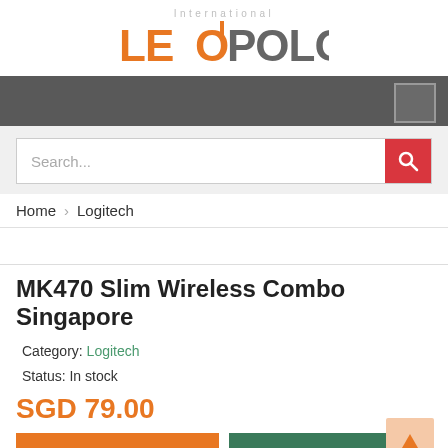[Figure (logo): Leopold International logo with orange text and pin icon]
[Figure (screenshot): Dark navigation bar with square icon on right]
Search...
Home  Logitech
MK470 Slim Wireless Combo Singapore
Category: Logitech
Status: In stock
SGD 79.00
ADD TO CART  See where to sell